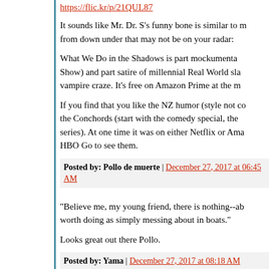https://flic.kr/p/21QUL87
It sounds like Mr. Dr. S's funny bone is similar to mine. Here are some from down under that may not be on your radar:
What We Do in the Shadows is part mockumenta... Show) and part satire of millennial Real World sla... vampire craze. It's free on Amazon Prime at the m...
If you find that you like the NZ humor (style not co... the Conchords (start with the comedy special, the... series). At one time it was on either Netflix or Ama... HBO Go to see them.
Posted by: Pollo de muerte | December 27, 2017 at 06:45 AM
"Believe me, my young friend, there is nothing--ab... worth doing as simply messing about in boats."
Looks great out there Pollo.
Posted by: Yama | December 27, 2017 at 08:18 AM
we're watching The Crown, The Good Place, Viki... and Turn, just finished Lady Dynamite and Rick...